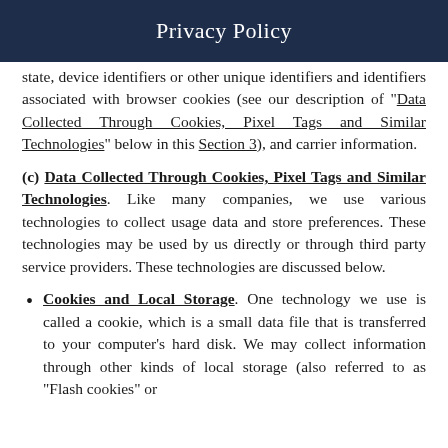Privacy Policy
state, device identifiers or other unique identifiers and identifiers associated with browser cookies (see our description of "Data Collected Through Cookies, Pixel Tags and Similar Technologies" below in this Section 3), and carrier information.
(c) Data Collected Through Cookies, Pixel Tags and Similar Technologies. Like many companies, we use various technologies to collect usage data and store preferences. These technologies may be used by us directly or through third party service providers. These technologies are discussed below.
Cookies and Local Storage. One technology we use is called a cookie, which is a small data file that is transferred to your computer's hard disk. We may collect information through other kinds of local storage (also referred to as "Flash cookies" or